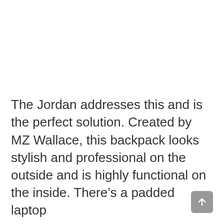The Jordan addresses this and is the perfect solution. Created by MZ Wallace, this backpack looks stylish and professional on the outside and is highly functional on the inside. There's a padded laptop